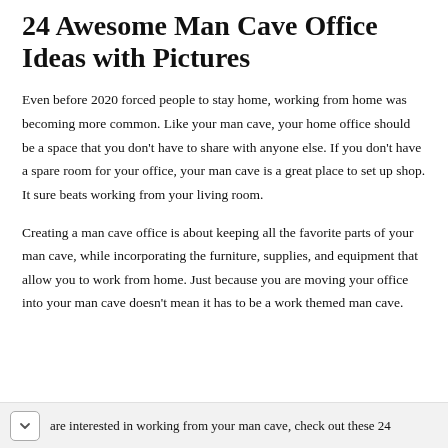24 Awesome Man Cave Office Ideas with Pictures
Even before 2020 forced people to stay home, working from home was becoming more common. Like your man cave, your home office should be a space that you don't have to share with anyone else. If you don't have a spare room for your office, your man cave is a great place to set up shop. It sure beats working from your living room.
Creating a man cave office is about keeping all the favorite parts of your man cave, while incorporating the furniture, supplies, and equipment that allow you to work from home. Just because you are moving your office into your man cave doesn't mean it has to be a work themed man cave.
are interested in working from your man cave, check out these 24